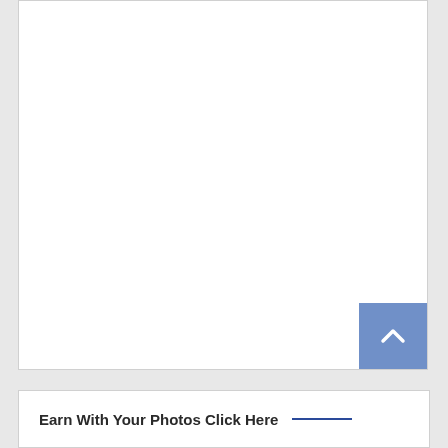[Figure (other): White content card area, mostly blank/white space with a blue back-to-top button in the bottom-right corner containing an upward chevron arrow icon]
Earn With Your Photos Click Here